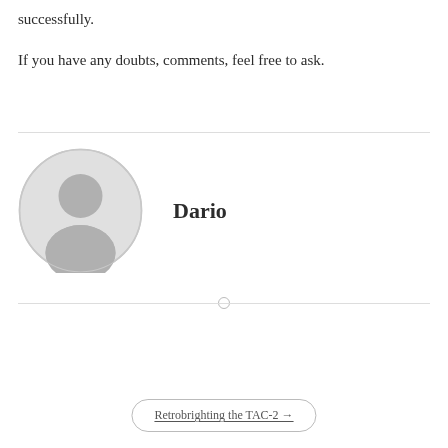successfully.
If you have any doubts, comments, feel free to ask.
[Figure (illustration): Circular avatar placeholder showing a generic person silhouette in gray on a light gray background]
Dario
Retrobrighting the TAC-2 →